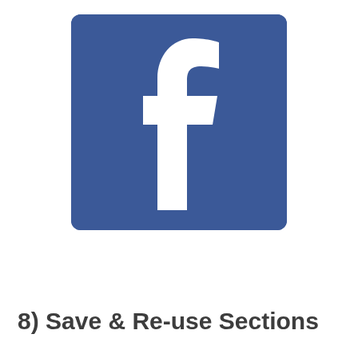[Figure (logo): Facebook logo: white lowercase 'f' on a blue square background with slightly rounded corners]
8) Save & Re-use Sections